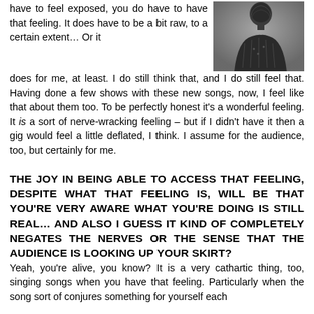have to feel exposed, you do have to have that feeling. It does have to be a bit raw, to a certain extent… Or it does for me, at least. I do still think that, and I do still feel that. Having done a few shows with these new songs, now, I feel like that about them too. To be perfectly honest it's a wonderful feeling. It is a sort of nerve-wracking feeling – but if I didn't have it then a gig would feel a little deflated, I think. I assume for the audience, too, but certainly for me.
[Figure (photo): Black and white photo of a person facing away, wearing a textured jacket]
THE JOY IN BEING ABLE TO ACCESS THAT FEELING, DESPITE WHAT THAT FEELING IS, WILL BE THAT YOU'RE VERY AWARE WHAT YOU'RE DOING IS STILL REAL… AND ALSO I GUESS IT KIND OF COMPLETELY NEGATES THE NERVES OR THE SENSE THAT THE AUDIENCE IS LOOKING UP YOUR SKIRT?
Yeah, you're alive, you know? It is a very cathartic thing, too, singing songs when you have that feeling. Particularly when the song sort of conjures something for yourself each